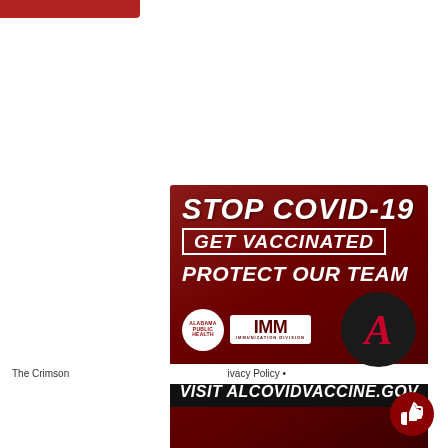[Figure (infographic): COVID-19 vaccination advertisement. Dark red/crimson background. Text reads 'STOP COVID-19', 'GET VACCINATED' in a white border box, 'PROTECT OUR TEAM'. Logos: Alabama Public Health circle logo, IMM Immunization Division box logo, University of Alabama script A with elephant mascot. Black footer bar: 'VISIT ALCOVIDVACCINE.GOV']
The Crimson ... Privacy Policy •